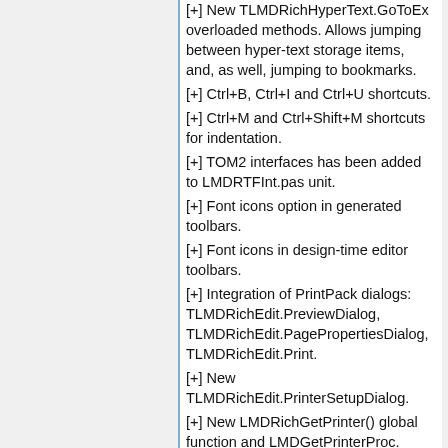[+] New TLMDRichHyperText.GoToEx overloaded methods. Allows jumping between hyper-text storage items, and, as well, jumping to bookmarks.
[+] Ctrl+B, Ctrl+I and Ctrl+U shortcuts.
[+] Ctrl+M and Ctrl+Shift+M shortcuts for indentation.
[+] TOM2 interfaces has been added to LMDRTFInt.pas unit.
[+] Font icons option in generated toolbars.
[+] Font icons in design-time editor toolbars.
[+] Integration of PrintPack dialogs: TLMDRichEdit.PreviewDialog, TLMDRichEdit.PagePropertiesDialog, TLMDRichEdit.Print.
[+] New TLMDRichEdit.PrinterSetupDialog.
[+] New LMDRichGetPrinter() global function and LMDGetPrinterProc.